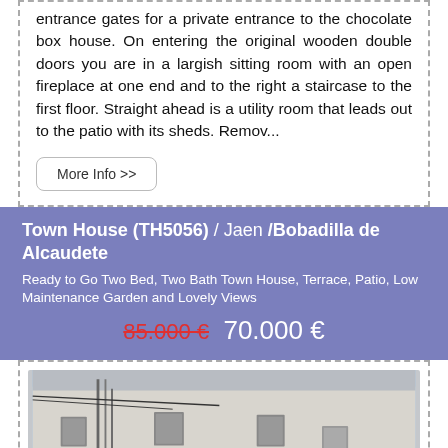entrance gates for a private entrance to the chocolate box house. On entering the original wooden double doors you are in a largish sitting room with an open fireplace at one end and to the right a staircase to the first floor. Straight ahead is a utility room that leads out to the patio with its sheds. Remov...
More Info >>
Town House (TH5056) / Jaen /Bobadilla de Alcaudete
Ready to Go Two Bed, Two Bath Town House, Terrace, Patio, Low Maintenance Garden and Lovely Views
85.000 € 70.000 €
[Figure (photo): Exterior photo of a white town house building with blue sky background, showing facade with windows and utility pipes on the wall.]